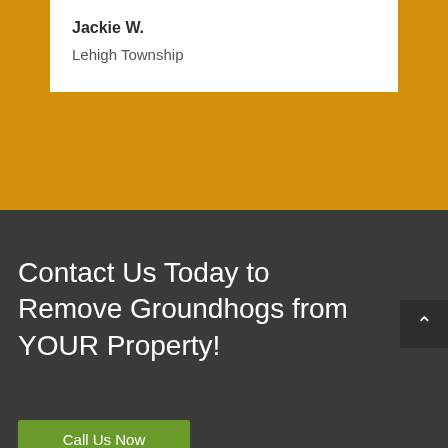Jackie W.
Lehigh Township
Contact Us Today to Remove Groundhogs from YOUR Property!
Call Us Now